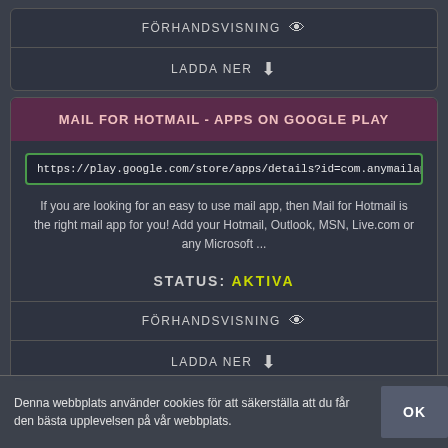FÖRHANDSVISNING
LADDA NER
MAIL FOR HOTMAIL - APPS ON GOOGLE PLAY
https://play.google.com/store/apps/details?id=com.anymailapp.hotmail&
If you are looking for an easy to use mail app, then Mail for Hotmail is the right mail app for you! Add your Hotmail, Outlook, MSN, Live.com or any Microsoft ...
STATUS: AKTIVA
FÖRHANDSVISNING
LADDA NER
Denna webbplats använder cookies för att säkerställa att du får den bästa upplevelsen på vår webbplats.